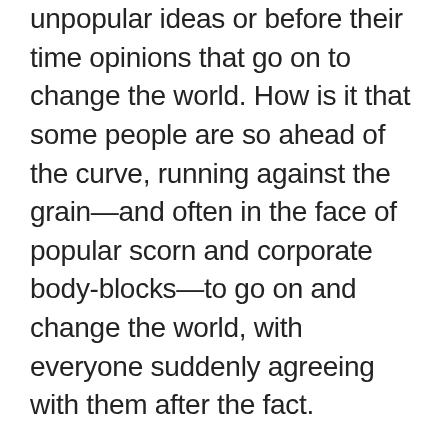unpopular ideas or before their time opinions that go on to change the world. How is it that some people are so ahead of the curve, running against the grain—and often in the face of popular scorn and corporate body-blocks—to go on and change the world, with everyone suddenly agreeing with them after the fact.
Are they psychic? Foolhardy? Grant envisions a framework under which new ideas—that is, new good ideas—can be recognized, nurtured, and allowed to flourish, even in institutional environments like governments and corporations, without